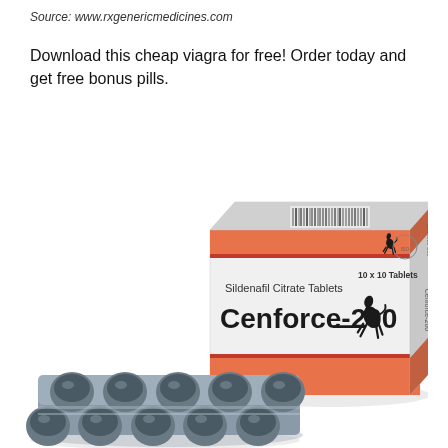Source: www.rxgenericmedicines.com
Download this cheap viagra for free! Order today and get free bonus pills.
[Figure (photo): Product photo of Cenforce-200 Sildenafil Citrate Tablets box (10x10 Tablets) with orange and white packaging featuring a rearing horse logo, alongside a blister pack of dark round tablets in silver/grey foil packaging.]